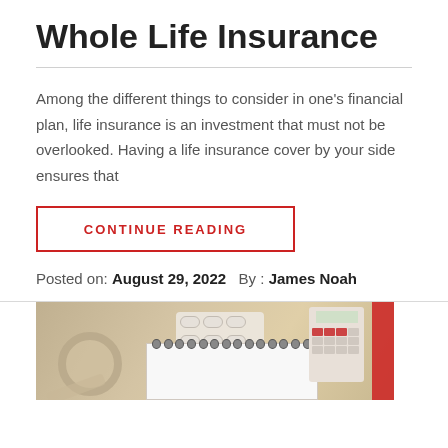Whole Life Insurance
Among the different things to consider in one's financial plan, life insurance is an investment that must not be overlooked. Having a life insurance cover by your side ensures that
CONTINUE READING
Posted on: August 29, 2022   By: James Noah
[Figure (photo): A desk with medical/financial items: tape roll, syringe, pills, a notebook with spiral binding, and a calculator with red keys, suggesting health insurance or medical finance context.]